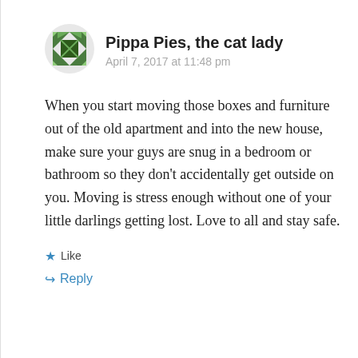[Figure (illustration): Green quilt-patterned avatar icon for user Pippa Pies, the cat lady]
Pippa Pies, the cat lady
April 7, 2017 at 11:48 pm
When you start moving those boxes and furniture out of the old apartment and into the new house, make sure your guys are snug in a bedroom or bathroom so they don’t accidentally get outside on you. Moving is stress enough without one of your little darlings getting lost. Love to all and stay safe.
★ Like
↪ Reply